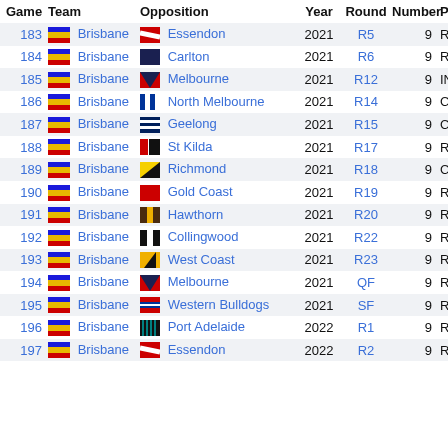| Game | Team | Opposition | Year | Round | Number | Pos |
| --- | --- | --- | --- | --- | --- | --- |
| 183 | Brisbane | Essendon | 2021 | R5 | 9 | R |
| 184 | Brisbane | Carlton | 2021 | R6 | 9 | R |
| 185 | Brisbane | Melbourne | 2021 | R12 | 9 | INT |
| 186 | Brisbane | North Melbourne | 2021 | R14 | 9 | C |
| 187 | Brisbane | Geelong | 2021 | R15 | 9 | C |
| 188 | Brisbane | St Kilda | 2021 | R17 | 9 | RR |
| 189 | Brisbane | Richmond | 2021 | R18 | 9 | C |
| 190 | Brisbane | Gold Coast | 2021 | R19 | 9 | R |
| 191 | Brisbane | Hawthorn | 2021 | R20 | 9 | R |
| 192 | Brisbane | Collingwood | 2021 | R22 | 9 | R |
| 193 | Brisbane | West Coast | 2021 | R23 | 9 | R |
| 194 | Brisbane | Melbourne | 2021 | QF | 9 | R |
| 195 | Brisbane | Western Bulldogs | 2021 | SF | 9 | R |
| 196 | Brisbane | Port Adelaide | 2022 | R1 | 9 | R |
| 197 | Brisbane | Essendon | 2022 | R2 | 9 | R |